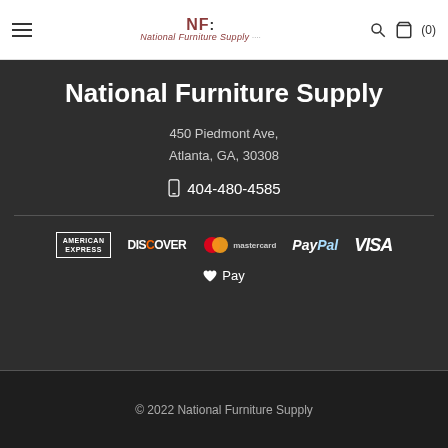National Furniture Supply — NF: (logo) — search icon — cart (0)
National Furniture Supply
450 Piedmont Ave,
Atlanta, GA, 30308
📱 404-480-4585
[Figure (logo): Payment method logos: American Express, Discover, Mastercard, PayPal, Visa, Apple Pay]
© 2022 National Furniture Supply